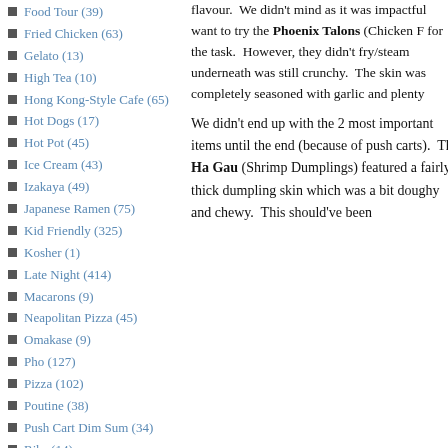Food Tour (39)
Fried Chicken (63)
Gelato (13)
High Tea (10)
Hong Kong-Style Cafe (65)
Hot Dogs (17)
Hot Pot (45)
Ice Cream (43)
Izakaya (49)
Japanese Ramen (75)
Kid Friendly (325)
Kosher (1)
Late Night (414)
Macarons (9)
Neapolitan Pizza (45)
Omakase (9)
Pho (127)
Pizza (102)
Poutine (38)
Push Cart Dim Sum (34)
Ribs (14)
Sandwiches (215)
flavour. We didn't mind as it was impactful want to try the Phoenix Talons (Chicken F for the task. However, they didn't fry/steam underneath was still crunchy. The skin was completely seasoned with garlic and plenty
We didn't end up with the 2 most important items until the end (because of push carts). The Ha Gau (Shrimp Dumplings) featured a fairly thick dumpling skin which was a bit doughy and chewy. This should've been
[Figure (photo): Dim sum dishes in bamboo steamer basket on a plate, food photography]
[Figure (photo): Dim sum dumplings on a white plate, food photography]